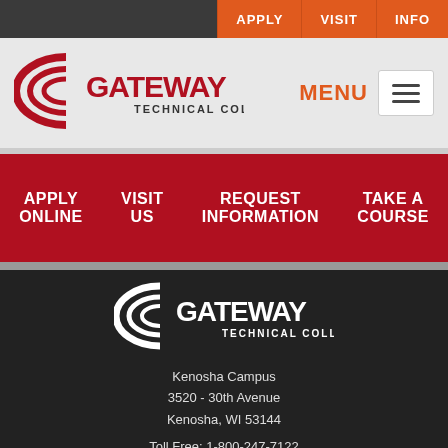APPLY | VISIT | INFO
[Figure (logo): Gateway Technical College logo - red swoosh with GATEWAY text in red and TECHNICAL COLLEGE in dark text]
MENU
APPLY ONLINE
VISIT US
REQUEST INFORMATION
TAKE A COURSE
[Figure (logo): Gateway Technical College logo - white swoosh with GATEWAY text in white and TECHNICAL COLLEGE in white on dark background]
Kenosha Campus
3520 - 30th Avenue
Kenosha, WI 53144
Toll Free: 1-800-247-7122
Wisconsin Relay System: 711
sscontactcenter@gtc.edu